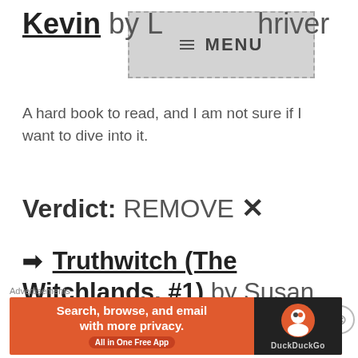Kevin by Lionel Shriver
A hard book to read, and I am not sure if I want to dive into it.
Verdict: REMOVE ✗
➡ Truthwitch (The Witchlands, #1) by Susan Dennard
Advertisements
[Figure (screenshot): DuckDuckGo advertisement banner: 'Search, browse, and email with more privacy. All in One Free App' with DuckDuckGo logo on dark background]